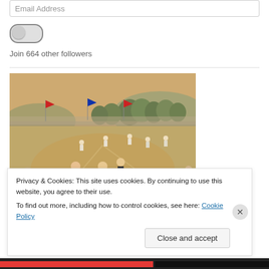Email Address
[Figure (other): Toggle/submit button (pill-shaped gray button)]
Join 664 other followers
[Figure (illustration): Vintage painting of a baseball game scene with players on a field, spectators, flags, and trees in the background.]
Privacy & Cookies: This site uses cookies. By continuing to use this website, you agree to their use.
To find out more, including how to control cookies, see here: Cookie Policy
Close and accept